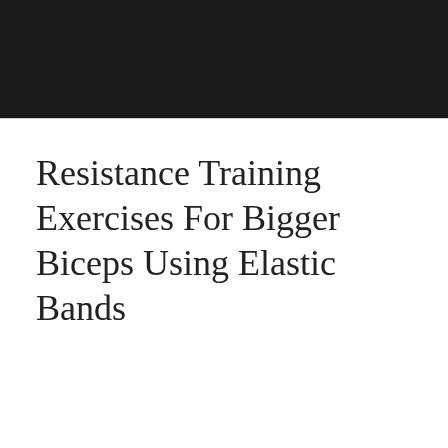Resistance Training Exercises For Bigger Biceps Using Elastic Bands